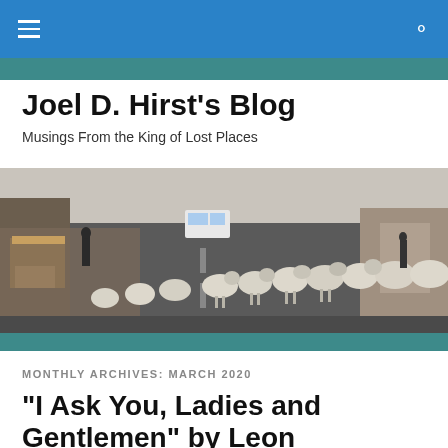Joel D. Hirst's Blog — navigation bar
Joel D. Hirst's Blog
Musings From the King of Lost Places
[Figure (photo): A flock of sheep walking down a road in a town, with vehicles and buildings visible in the background.]
MONTHLY ARCHIVES: MARCH 2020
“I Ask You, Ladies and Gentlemen” by Leon Surmelian